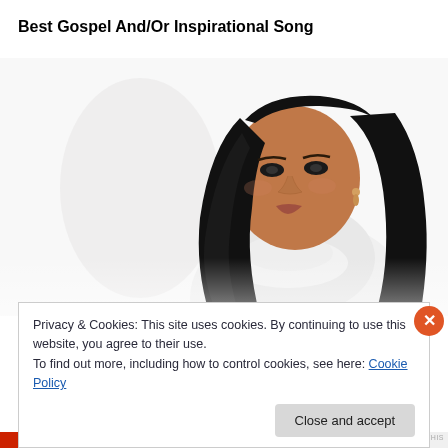Best Gospel And/Or Inspirational Song
[Figure (photo): Portrait of a woman with long black hair wearing a white turtleneck, photographed against a white background]
Privacy & Cookies: This site uses cookies. By continuing to use this website, you agree to their use.
To find out more, including how to control cookies, see here: Cookie Policy
Close and accept